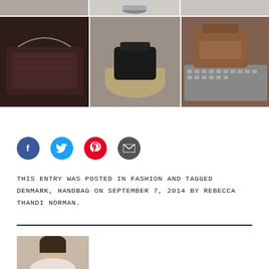[Figure (photo): Grid of 6 fashion/lifestyle photos showing handbags, a person in sneakers, and accessories on a laptop keyboard]
[Figure (illustration): Social share icons: Facebook (blue), Twitter (cyan), Pinterest (red), Email (dark grey)]
THIS ENTRY WAS POSTED IN FASHION AND TAGGED DENMARK, HANDBAG ON SEPTEMBER 7, 2014 BY REBECCA THANDI NORMAN.
[Figure (photo): Partial photo of a woman with dark hair, author portrait]